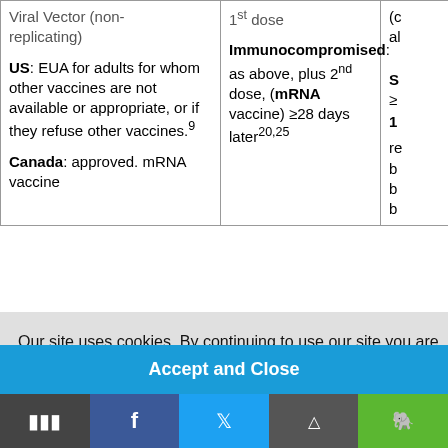| Vaccine type | Dosing | Notes |
| --- | --- | --- |
| Viral Vector (non-replicating)

US: EUA for adults for whom other vaccines are not available or appropriate, or if they refuse other vaccines.⁹

Canada: approved. mRNA vaccine | 1st dose

Immunocompromised: as above, plus 2nd dose, (mRNA vaccine) ≥28 days later²⁰·²⁵ | (cut off) |
Our site uses cookies. By continuing to use our site you are agreeing to our privacy and cookies policy. Learn more
Accept and Close